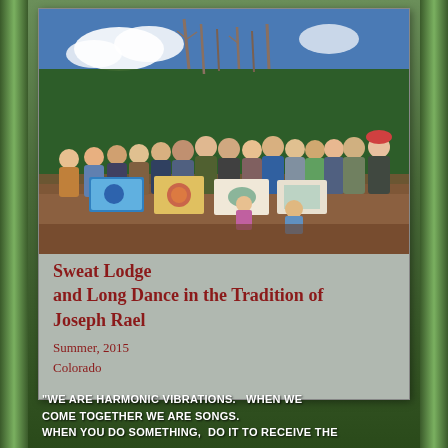[Figure (photo): Group photo of approximately 25 adults and children standing outdoors in a dirt clearing with bare trees and blue sky in background, holding colorful painted banners/artwork panels]
Sweat Lodge and Long Dance in the Tradition of Joseph Rael
Summer, 2015
Colorado
"WE ARE HARMONIC VIBRATIONS.   WHEN WE COME TOGETHER WE ARE SONGS. WHEN YOU DO SOMETHING,  DO IT TO RECEIVE THE